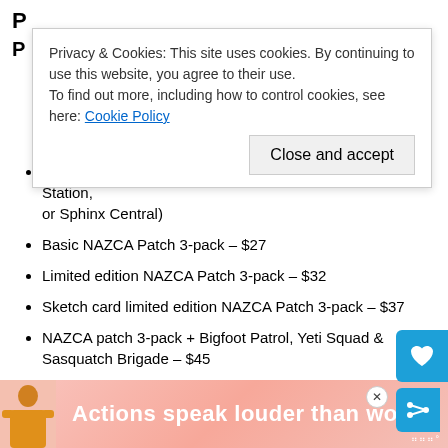P...
P...
Single patches – $12 (Easter Island Outpost, Stonehenge Station, or Sphinx Central)
Basic NAZCA Patch 3-pack – $27
Limited edition NAZCA Patch 3-pack – $32
Sketch card limited edition NAZCA Patch 3-pack – $37
NAZCA patch 3-pack + Bigfoot Patrol, Yeti Squad & Sasquatch Brigade – $45
NAZCA patch 3-pack + Cryptid Command patches (Bigfoot, Nessie Navy, Alien Air Force, Cryptid Command shield) – $53
NAZCA patch 3-pack + Ghost Guard patches (Ghost Guard, Spectral Agent, Paranormal Investigator, Spirit Sheriff) – $55
N... (all patches) –
Privacy & Cookies: This site uses cookies. By continuing to use this website, you agree to their use.
To find out more, including how to control cookies, see here: Cookie Policy
Close and accept
[Figure (screenshot): Advertisement banner: person with yellow jacket against pink/coral background with text 'Actions speak louder than words.']